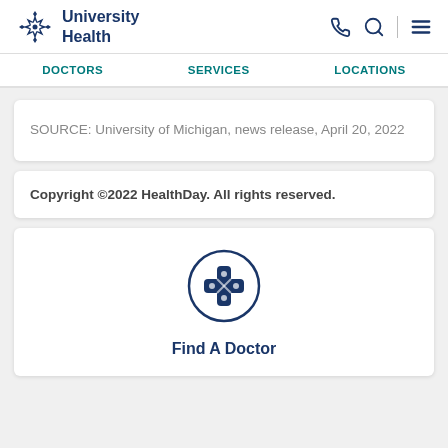[Figure (logo): University Health logo with snowflake icon and bold navy text]
DOCTORS   SERVICES   LOCATIONS
SOURCE: University of Michigan, news release, April 20, 2022
Copyright ©2022 HealthDay. All rights reserved.
[Figure (illustration): Circle icon with a bandage/cross symbol above Find A Doctor link]
Find A Doctor